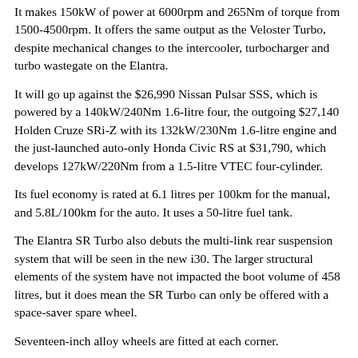It makes 150kW of power at 6000rpm and 265Nm of torque from 1500-4500rpm. It offers the same output as the Veloster Turbo, despite mechanical changes to the intercooler, turbocharger and turbo wastegate on the Elantra.
It will go up against the $26,990 Nissan Pulsar SSS, which is powered by a 140kW/240Nm 1.6-litre four, the outgoing $27,140 Holden Cruze SRi-Z with its 132kW/230Nm 1.6-litre engine and the just-launched auto-only Honda Civic RS at $31,790, which develops 127kW/220Nm from a 1.5-litre VTEC four-cylinder.
Its fuel economy is rated at 6.1 litres per 100km for the manual, and 5.8L/100km for the auto. It uses a 50-litre fuel tank.
The Elantra SR Turbo also debuts the multi-link rear suspension system that will be seen in the new i30. The larger structural elements of the system have not impacted the boot volume of 458 litres, but it does mean the SR Turbo can only be offered with a space-saver spare wheel.
Seventeen-inch alloy wheels are fitted at each corner.